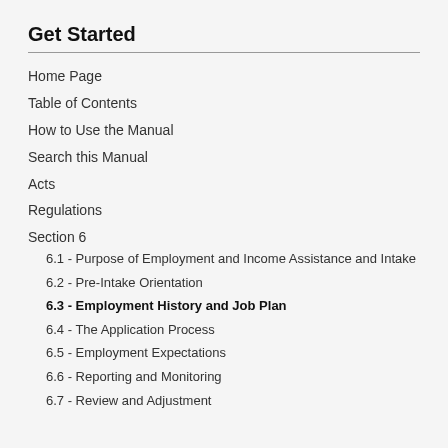Get Started
Home Page
Table of Contents
How to Use the Manual
Search this Manual
Acts
Regulations
Section 6
6.1 - Purpose of Employment and Income Assistance and Intake
6.2 - Pre-Intake Orientation
6.3 - Employment History and Job Plan
6.4 - The Application Process
6.5 - Employment Expectations
6.6 - Reporting and Monitoring
6.7 - Review and Adjustment